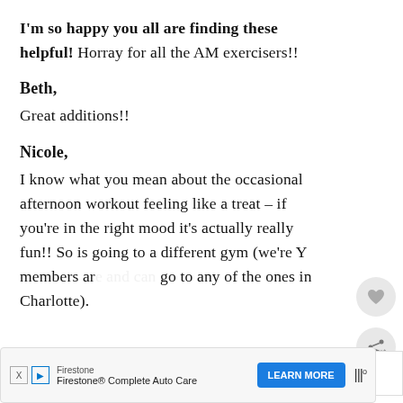I'm so happy you all are finding these helpful! Horray for all the AM exercisers!!
Beth,
Great additions!!
Nicole,
I know what you mean about the occasional afternoon workout feeling like a treat – if you're in the right mood it's actually really fun!! So is going to a different gym (we're Y members and go to any of the ones in Charlotte).
[Figure (screenshot): Heart/like button icon (circle with heart symbol)]
[Figure (screenshot): Share button icon (circle with share symbol)]
[Figure (screenshot): What's Next promo widget showing coffee cup image and text 'Mom's Cookin']
[Figure (screenshot): Firestone Complete Auto Care advertisement banner with Learn More button]